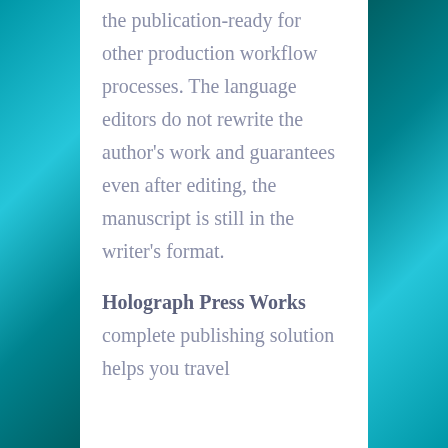the publication-ready for other production workflow processes. The language editors do not rewrite the author's work and guarantees even after editing, the manuscript is still in the writer's format.
Holograph Press Works complete publishing solution helps you travel